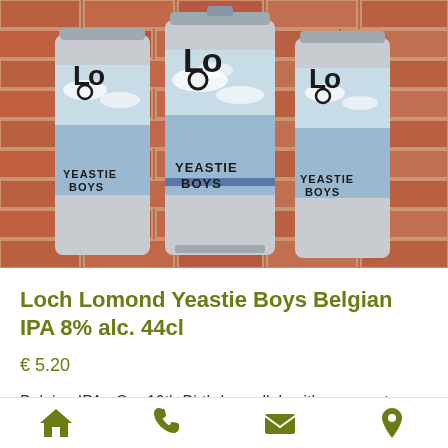[Figure (photo): Three Loch Lomond Yeastie Boys beer cans with blue sky label against a brick wall background]
Loch Lomond Yeastie Boys Belgian IPA 8% alc. 44cl
€ 5.20
Belgian IPA - Our 10th Birthday collab with our great mates and Yeastie Boys. Aromas of
[Figure (infographic): Bottom navigation bar with four icons: home, phone, email, location pin - all in olive green color]